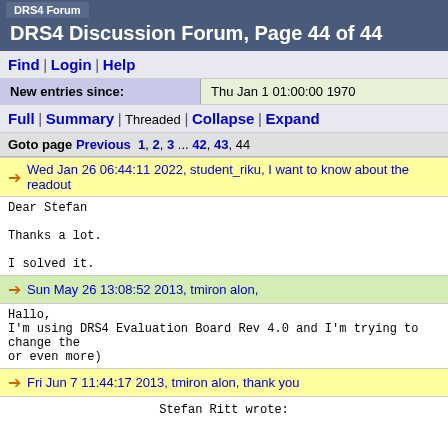DRS4 Forum
DRS4 Discussion Forum, Page 44 of 44
Find | Login | Help
New entries since: Thu Jan 1 01:00:00 1970
Full | Summary | Threaded | Collapse | Expand
Goto page Previous 1, 2, 3 ... 42, 43, 44
Wed Jan 26 06:44:11 2022, student_riku, I want to know about the readout
Dear Stefan

Thanks a lot.

I solved it.
Sun May 26 13:08:52 2013, tmiron alon,
Hallo,
I'm using DRS4 Evaluation Board Rev 4.0 and I'm trying to  change the
or even more)
Fri Jun 7 11:44:17 2013, tmiron alon, thank you
Stefan Ritt wrote: